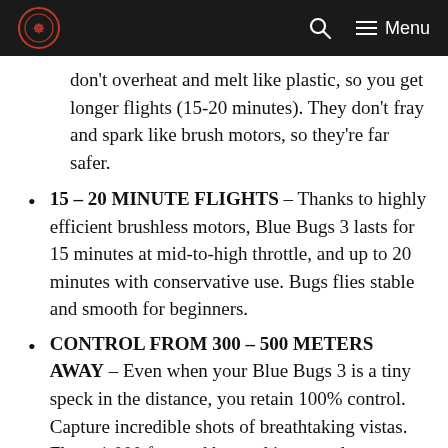Menu
don't overheat and melt like plastic, so you get longer flights (15-20 minutes). They don't fray and spark like brush motors, so they're far safer.
15 – 20 MINUTE FLIGHTS – Thanks to highly efficient brushless motors, Blue Bugs 3 lasts for 15 minutes at mid-to-high throttle, and up to 20 minutes with conservative use. Bugs flies stable and smooth for beginners.
CONTROL FROM 300 – 500 METERS AWAY – Even when your Blue Bugs 3 is a tiny speck in the distance, you retain 100% control. Capture incredible shots of breathtaking vistas. Fly to 1,000 feet and beyond in seconds.